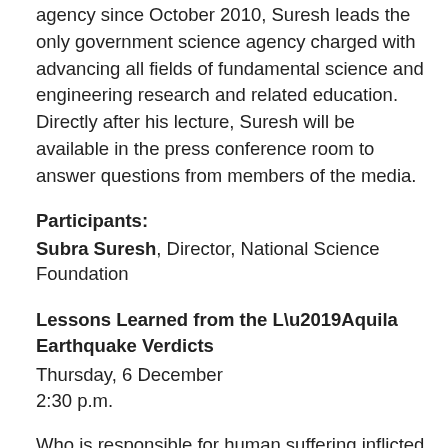agency since October 2010, Suresh leads the only government science agency charged with advancing all fields of fundamental science and engineering research and related education. Directly after his lecture, Suresh will be available in the press conference room to answer questions from members of the media.
Participants:
Subra Suresh, Director, National Science Foundation
Lessons Learned from the L’Aquila Earthquake Verdicts
Thursday, 6 December
2:30 p.m.
Who is responsible for human suffering inflicted by earthquakes? What advice should scientists give and how should they communicate it when volcanoes erupt? What are the responsibilities and perils for researchers who